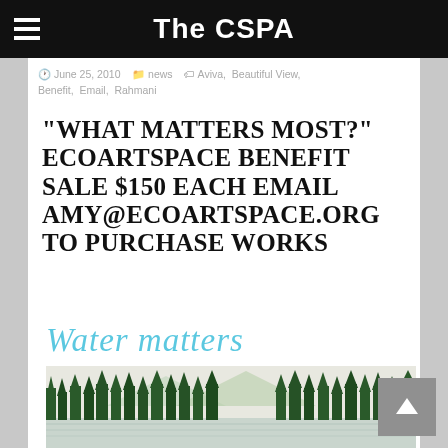The CSPA
June 25, 2010  news  Aviva, Beautiful View, Benefit, Email, Rahmani
“WHAT MATTERS MOST?” ECOARTSPACE BENEFIT SALE $150 EACH EMAIL AMY@ECOARTSPACE.ORG TO PURCHASE WORKS
[Figure (illustration): Cursive text reading 'Water matters' in light blue, above a green landscape illustration of trees, mountains, and water reflections]